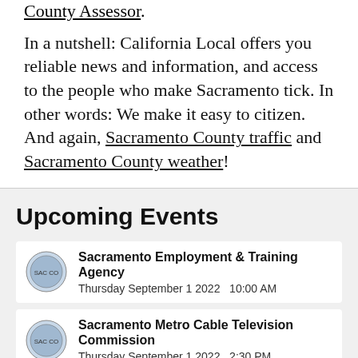County Assessor.
In a nutshell: California Local offers you reliable news and information, and access to the people who make Sacramento tick. In other words: We make it easy to citizen. And again, Sacramento County traffic and Sacramento County weather!
Upcoming Events
Sacramento Employment & Training Agency
Thursday September 1 2022   10:00 AM
Sacramento Metro Cable Television Commission
Thursday September 1 2022   2:30 PM
Planning Commission Meeting